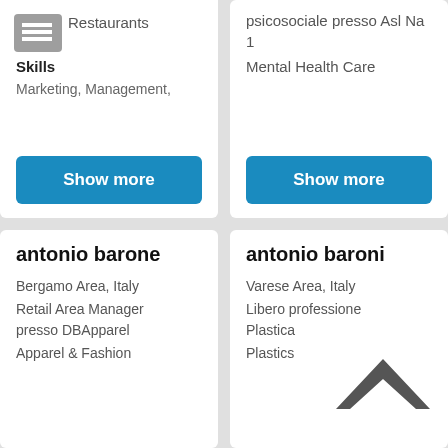Restaurants
Skills
Marketing, Management,
Show more
psicosociale presso Asl Na 1
Mental Health Care
Show more
antonio barone
Bergamo Area, Italy
Retail Area Manager presso DBApparel
Apparel & Fashion
antonio baroni
Varese Area, Italy
Libero professione Plastica
Plastics